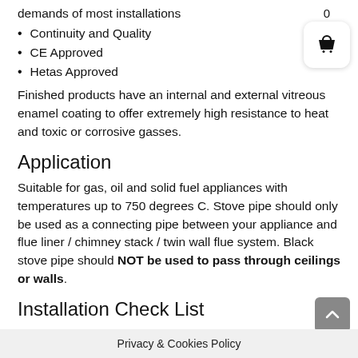demands of most installations
Continuity and Quality
CE Approved
Hetas Approved
Finished products have an internal and external vitreous enamel coating to offer extremely high resistance to heat and toxic or corrosive gasses.
Application
Suitable for gas, oil and solid fuel appliances with temperatures up to 750 degrees C. Stove pipe should only be used as a connecting pipe between your appliance and flue liner / chimney stack / twin wall flue system. Black stove pipe should NOT be used to pass through ceilings or walls.
Installation Check List
You should not install a piece of black stove pipe within 3 times the diameter of the flue from combustible material, e.g. wood, plaster boards, etc. A 5 inch (125mm) diameter piece of black stove pipe should [...]way from combustible [...] a make
Privacy & Cookies Policy